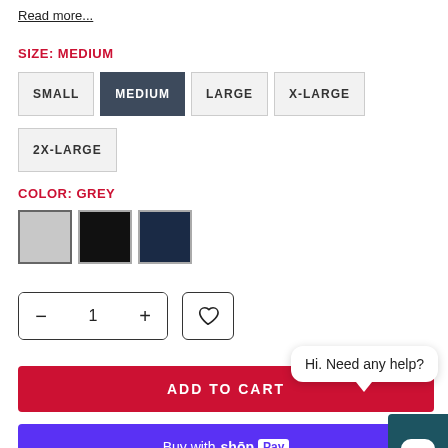Read more...
SIZE: MEDIUM
SMALL
MEDIUM
LARGE
X-LARGE
2X-LARGE
COLOR: GREY
[Figure (other): Three color swatches: grey (selected), black, navy]
[Figure (other): Quantity selector showing - 1 + and a wishlist heart button]
ADD TO CART
Hi. Need any help?
Buy with shop Pay